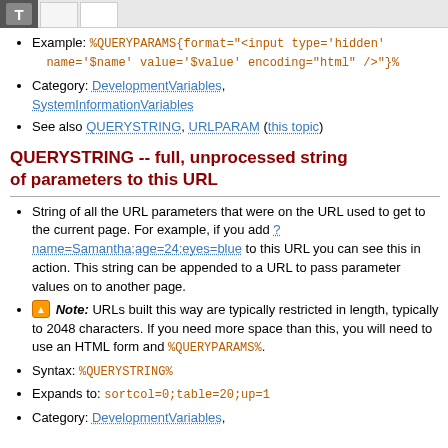Example: %QUERYPARAMS{format="<input type='hidden' name='$name' value='$value' encoding="html" />"}%
Category: DevelopmentVariables, SystemInformationVariables
See also QUERYSTRING, URLPARAM (this topic)
QUERYSTRING -- full, unprocessed string of parameters to this URL
String of all the URL parameters that were on the URL used to get to the current page. For example, if you add ?name=Samantha;age=24;eyes=blue to this URL you can see this in action. This string can be appended to a URL to pass parameter values on to another page.
Note: URLs built this way are typically restricted in length, typically to 2048 characters. If you need more space than this, you will need to use an HTML form and %QUERYPARAMS%.
Syntax: %QUERYSTRING%
Expands to: sortcol=0;table=20;up=1
Category: DevelopmentVariables,